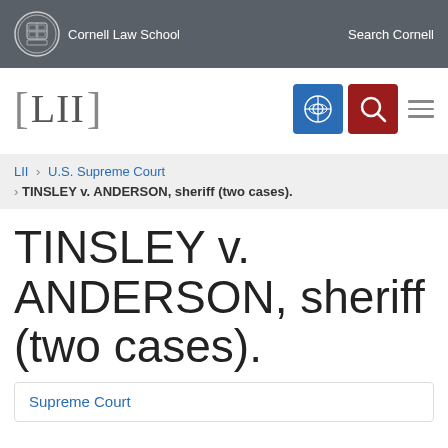Cornell Law School | Search Cornell
[Figure (logo): LII Legal Information Institute logo with navigation icons]
LII > U.S. Supreme Court > TINSLEY v. ANDERSON, sheriff (two cases).
TINSLEY v. ANDERSON, sheriff (two cases).
Supreme Court